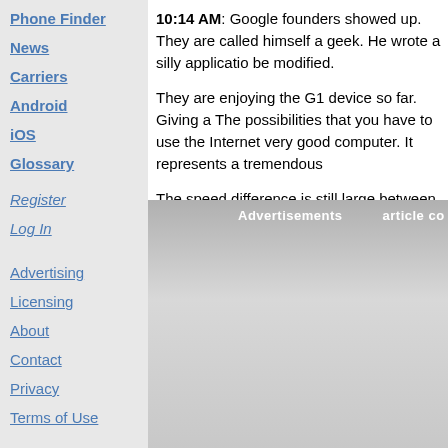Phone Finder
News
Carriers
Android
iOS
Glossary
Register
Log In
Advertising
Licensing
About
Contact
Privacy
Terms of Use
10:14 AM: Google founders showed up. They are called himself a geek. He wrote a silly application be modified.
They are enjoying the G1 device so far. Giving a The possibilities that you have to use the Internet very good computer. It represents a tremendous
The speed difference is still large between regular They think being able to perform searches quick
[Figure (other): Advertisements area with gray gradient background, showing labels 'Advertisements' and 'article co']